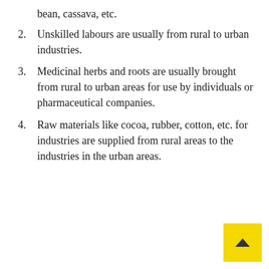bean, cassava, etc.
2. Unskilled labours are usually from rural to urban industries.
3. Medicinal herbs and roots are usually brought from rural to urban areas for use by individuals or pharmaceutical companies.
4. Raw materials like cocoa, rubber, cotton, etc. for industries are supplied from rural areas to the industries in the urban areas.